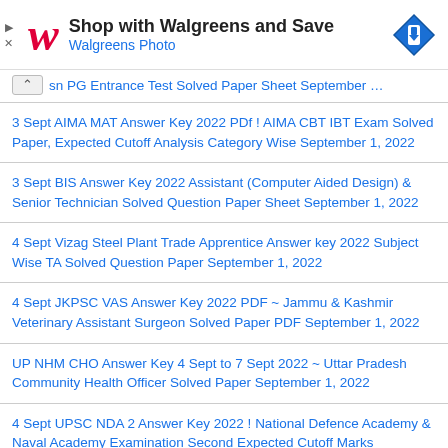[Figure (other): Walgreens advertisement banner with logo, text 'Shop with Walgreens and Save', 'Walgreens Photo', and a directional sign icon]
sn PG Entrance Test Solved Paper Sheet September 1, 2022
3 Sept AIMA MAT Answer Key 2022 PDf ! AIMA CBT IBT Exam Solved Paper, Expected Cutoff Analysis Category Wise September 1, 2022
3 Sept BIS Answer Key 2022 Assistant (Computer Aided Design) & Senior Technician Solved Question Paper Sheet September 1, 2022
4 Sept Vizag Steel Plant Trade Apprentice Answer key 2022 Subject Wise TA Solved Question Paper September 1, 2022
4 Sept JKPSC VAS Answer Key 2022 PDF ~ Jammu & Kashmir Veterinary Assistant Surgeon Solved Paper PDF September 1, 2022
UP NHM CHO Answer Key 4 Sept to 7 Sept 2022 ~ Uttar Pradesh Community Health Officer Solved Paper September 1, 2022
4 Sept UPSC NDA 2 Answer Key 2022 ! National Defence Academy & Naval Academy Examination Second Expected Cutoff Marks September 1, 2022
4 September NDA 2 Answer Key 2022 PDF ~ UPSC National...